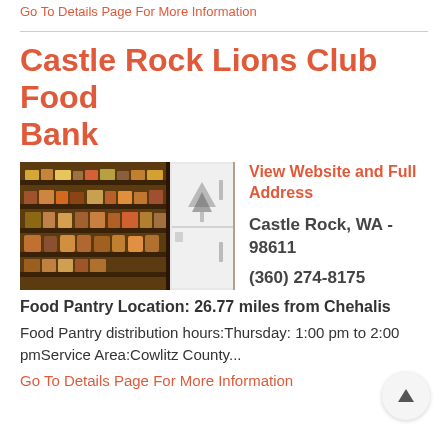Go To Details Page For More Information
Castle Rock Lions Club Food Bank
[Figure (photo): Interior photo of a food bank with shelves stocked with canned goods and packaged foods, and a white refrigerator visible on the right side.]
View Website and Full Address
Castle Rock, WA - 98611
(360) 274-8175
Food Pantry Location: 26.77 miles from Chehalis
Food Pantry distribution hours:Thursday: 1:00 pm to 2:00 pmService Area:Cowlitz County...
Go To Details Page For More Information